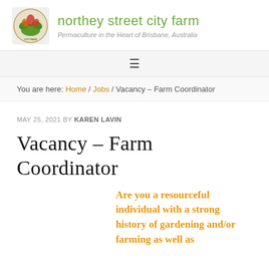[Figure (logo): Northey Street City Farm circular logo with illustrated vegetables and greenery]
northey street city farm
Permaculture in the Heart of Brisbane, Australia
≡
You are here: Home / Jobs / Vacancy – Farm Coordinator
MAY 25, 2021 BY KAREN LAVIN
Vacancy – Farm Coordinator
Are you a resourceful individual with a strong history of gardening and/or farming as well as